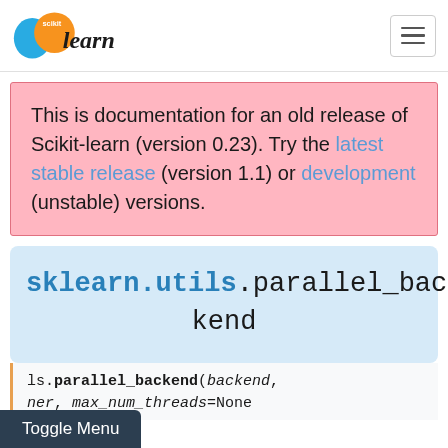scikit-learn logo and navigation
This is documentation for an old release of Scikit-learn (version 0.23). Try the latest stable release (version 1.1) or development (unstable) versions.
sklearn.utils.parallel_backend
ls.parallel_backend(backend, ner, max_num_threads=None